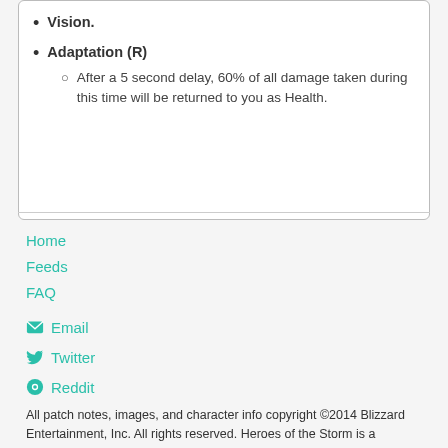Adaptation (R)
After a 5 second delay, 60% of all damage taken during this time will be returned to you as Health.
Home
Feeds
FAQ
Email
Twitter
Reddit
All patch notes, images, and character info copyright ©2014 Blizzard Entertainment, Inc. All rights reserved. Heroes of the Storm is a trademark of Blizzard Entertainment, Inc.
This website is not affiliated with Blizzard Entertainment in any way